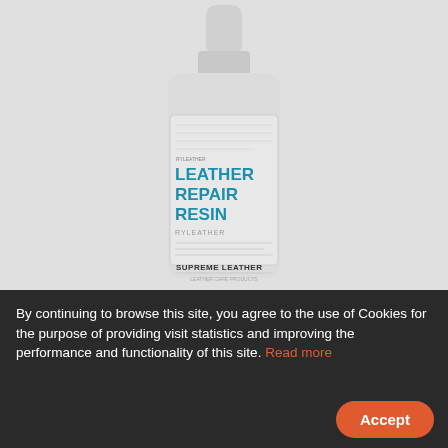[Figure (photo): A white spray bottle with label reading 'LEATHER REPAIR RESIN' with 'RYLEATHER' subtitle and 'SUPREME LEATHER' brand at bottom, on a light grey background.]
By continuing to browse this site, you agree to the use of Cookies for the purpose of providing visit statistics and improving the performance and functionality of this site. Read more
Leather repair resin, minor repairs to leather; repairs weakened leather, strengthens your...